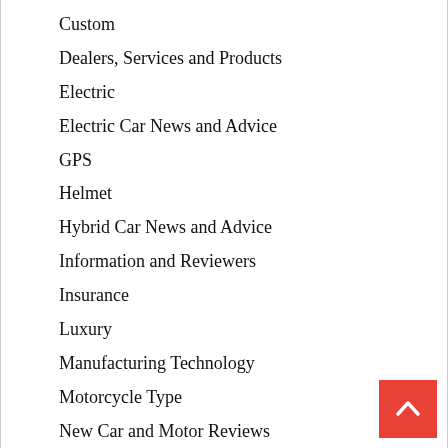Custom
Dealers, Services and Products
Electric
Electric Car News and Advice
GPS
Helmet
Hybrid Car News and Advice
Information and Reviewers
Insurance
Luxury
Manufacturing Technology
Motorcycle Type
New Car and Motor Reviews
News
Off-Road
On-Off-Road
Other
Scooter
Sed